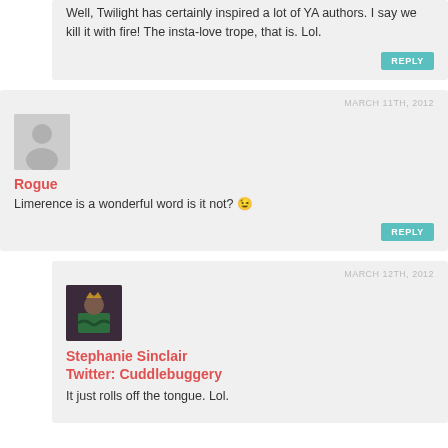Well, Twilight has certainly inspired a lot of YA authors. I say we kill it with fire! The insta-love trope, that is. Lol.
REPLY
MARCH 11TH, 2012
[Figure (illustration): Generic grey avatar placeholder silhouette]
Rogue
Limerence is a wonderful word is it not? 😉
REPLY
MARCH 12TH, 2012
[Figure (photo): Profile photo of Stephanie Sinclair / Cuddlebuggery, showing a woman in a green outfit with arms crossed]
Stephanie Sinclair
Twitter: Cuddlebuggery
It just rolls off the tongue. Lol.